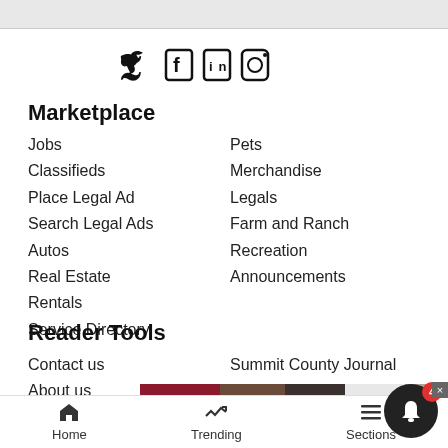[Figure (other): Social media icons: Twitter, Facebook, LinkedIn, Instagram]
Marketplace
Jobs
Classifieds
Place Legal Ad
Search Legal Ads
Autos
Real Estate
Rentals
Service Directory
Pets
Merchandise
Legals
Farm and Ranch
Recreation
Announcements
Reader Tools
Contact us
Summit County Journal
About us
Submiss...
Advertis...
[Figure (photo): Ulta Beauty advertisement banner showing makeup/beauty products]
Home   Trending   Sections